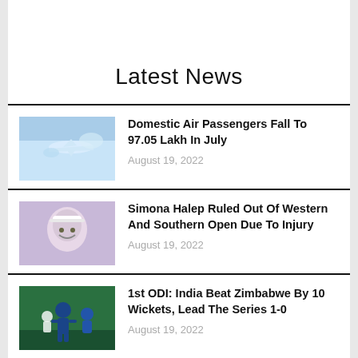Latest News
[Figure (photo): Airplane flying in blue sky]
Domestic Air Passengers Fall To 97.05 Lakh In July
August 19, 2022
[Figure (photo): Simona Halep tennis player smiling]
Simona Halep Ruled Out Of Western And Southern Open Due To Injury
August 19, 2022
[Figure (photo): Cricket match scene with players in blue uniforms]
1st ODI: India Beat Zimbabwe By 10 Wickets, Lead The Series 1-0
August 19, 2022